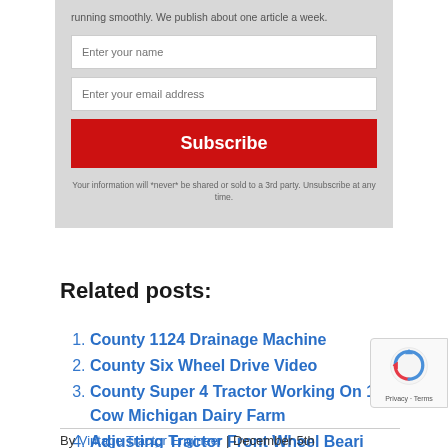running smoothly. We publish about one article a week.
[Figure (screenshot): Email subscription form with name field, email field, and red Subscribe button]
Your information will *never* be shared or sold to a 3rd party. Unsubscribe at any time.
Related posts:
County 1124 Drainage Machine
County Six Wheel Drive Video
County Super 4 Tractor Working On 125 Cow Michigan Dairy Farm
Adjusting Tractor Front Wheel Beari…
By Vintage Tractor Engineer | December 5th